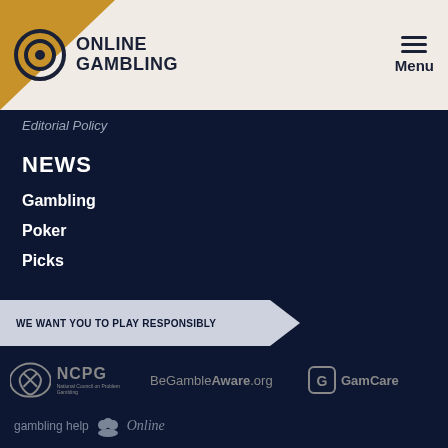Online Gambling | Menu
Editorial Policy
NEWS
Gambling
Poker
Picks
WE WANT YOU TO PLAY RESPONSIBLY
[Figure (logo): NCPG National Council on Problem Gambling logo]
[Figure (logo): BeGambleAware.org logo]
[Figure (logo): GamCare logo]
[Figure (logo): gambling help Online logo]